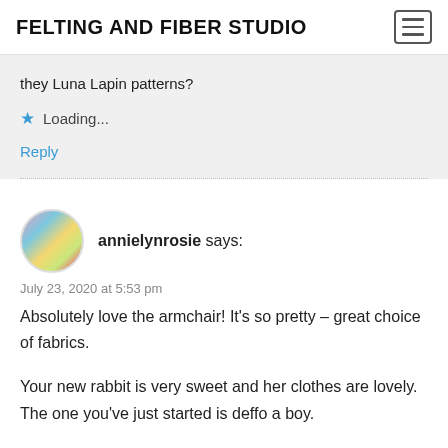FELTING AND FIBER STUDIO
they Luna Lapin patterns?
Loading...
Reply
annielynrosie says:
July 23, 2020 at 5:53 pm
Absolutely love the armchair! It's so pretty – great choice of fabrics.

Your new rabbit is very sweet and her clothes are lovely. The one you've just started is deffo a boy.